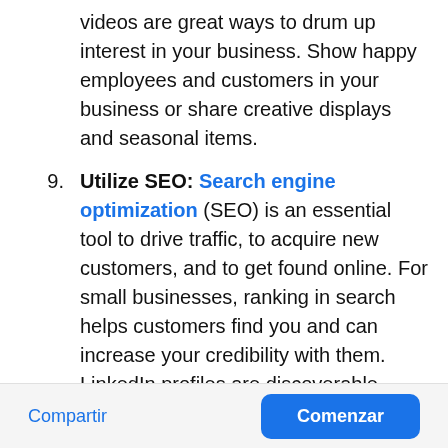videos are great ways to drum up interest in your business. Show happy employees and customers in your business or share creative displays and seasonal items.
9. Utilize SEO: Search engine optimization (SEO) is an essential tool to drive traffic, to acquire new customers, and to get found online. For small businesses, ranking in search helps customers find you and can increase your credibility with them. LinkedIn profiles are discoverable through search
Compartir | Comenzar